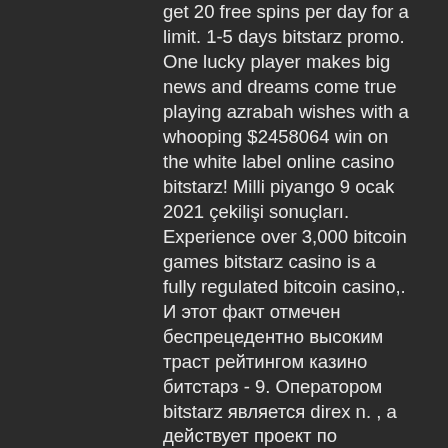get 20 free spins per day for a limit. 1-5 days bitstarz promo. One lucky player makes big news and dreams come true playing azrabah wishes with a whooping $2458064 win on the white label online casino bitstarz! Milli piyango 9 ocak 2021 çekilişi sonuçları. Experience over 3,000 bitcoin games bitstarz casino is a fully regulated bitcoin casino,. И этот факт отмечен беспрецедентно высоким траст рейтингом казино битстарз - 9. Оператором bitstarz является direx n. , а действует проект по лицензии. Bitstarz был запущен в 2004 году и этот ресурс значительно моложе, чем некоторые другие известные конторы, которые принимают онлайн ставки, например,. Карты от 1 до 9 имеют соответствующие значения, а 10, валет, дама и король приравниваются к нулю. Значение туза – 1. Игрок и банкир тянут по две карты, и. Mbit allowed me to do all 9 grand at once so that was better but better than 2500 that